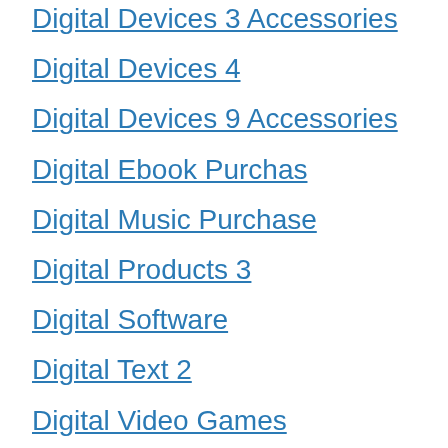Digital Devices 3 Accessories
Digital Devices 4
Digital Devices 9 Accessories
Digital Ebook Purchas
Digital Music Purchase
Digital Products 3
Digital Software
Digital Text 2
Digital Video Games
Drugstore
DVD
Electronics